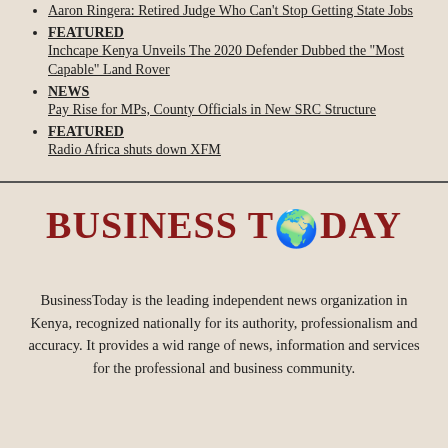Aaron Ringera: Retired Judge Who Can't Stop Getting State Jobs
FEATURED
Inchcape Kenya Unveils The 2020 Defender Dubbed the “Most Capable” Land Rover
NEWS
Pay Rise for MPs, County Officials in New SRC Structure
FEATURED
Radio Africa shuts down XFM
[Figure (logo): Business Today logo with globe icon replacing the O in TODAY, in dark red bold serif font]
BusinessToday is the leading independent news organization in Kenya, recognized nationally for its authority, professionalism and accuracy. It provides a wid range of news, information and services for the professional and business community.